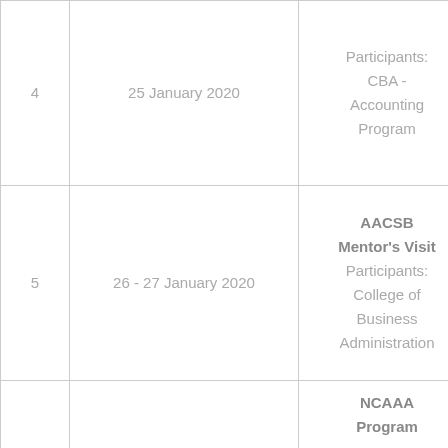| # | Date | Description |
| --- | --- | --- |
| 4 | 25 January 2020 | Participants:
CBA -
Accounting
Program |
| 5 | 26 - 27 January 2020 | AACSB
Mentor's Visit
Participants:
College of
Business
Administration |
|  |  | NCAAA
Program |